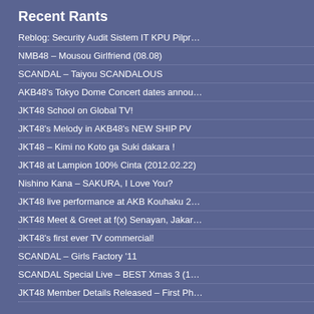Recent Rants
Reblog: Security Audit Sistem IT KPU Pilpr…
NMB48 – Mousou Girlfriend (08.08)
SCANDAL – Taiyou SCANDALOUS
AKB48's Tokyo Dome Concert dates annou…
JKT48 School on Global TV!
JKT48's Melody in AKB48's NEW SHIP PV
JKT48 – Kimi no Koto ga Suki dakara !
JKT48 at Lampion 100% Cinta (2012.02.22)
Nishino Kana – SAKURA, I Love You?
JKT48 live performance at AKB Kouhaku 2…
JKT48 Meet & Greet at f(x) Senayan, Jakar…
JKT48's first ever TV commercial!
SCANDAL – Girls Factory '11
SCANDAL Special Live – BEST Xmas 3 (1…
JKT48 Member Details Released – First Ph…
[Figure (photo): Gray thumbnail image top right]
0 Com
Kalat
Tweet T which IM original
0 Com
[Figure (photo): Photo of two young women, one in blue outfit, one in white, against a light blue sky background]